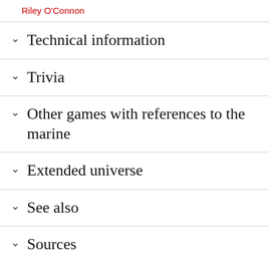Riley O'Connon
Technical information
Trivia
Other games with references to the marine
Extended universe
See also
Sources